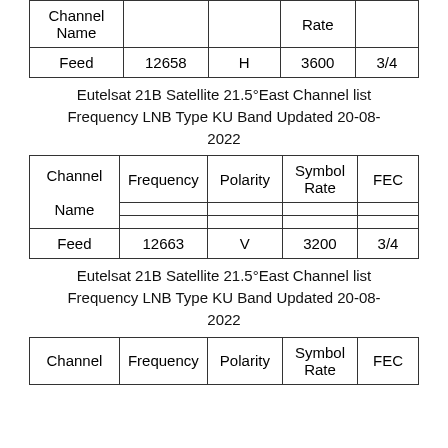| Channel Name | Frequency | Polarity | Symbol Rate | FEC |
| --- | --- | --- | --- | --- |
| Feed | 12658 | H | 3600 | 3/4 |
Eutelsat 21B Satellite 21.5°East Channel list Frequency LNB Type KU Band Updated 20-08-2022
| Channel Name | Frequency | Polarity | Symbol Rate | FEC |
| --- | --- | --- | --- | --- |
| Feed | 12663 | V | 3200 | 3/4 |
Eutelsat 21B Satellite 21.5°East Channel list Frequency LNB Type KU Band Updated 20-08-2022
| Channel Name | Frequency | Polarity | Symbol Rate | FEC |
| --- | --- | --- | --- | --- |